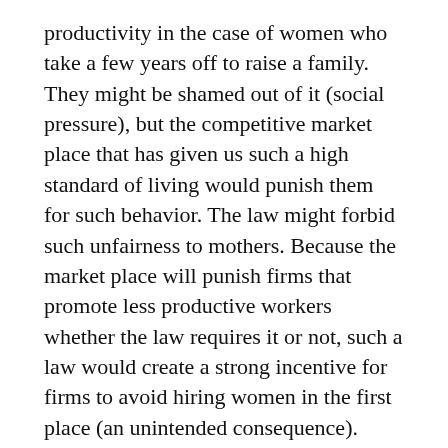productivity in the case of women who take a few years off to raise a family. They might be shamed out of it (social pressure), but the competitive market place that has given us such a high standard of living would punish them for such behavior. The law might forbid such unfairness to mothers. Because the market place will punish firms that promote less productive workers whether the law requires it or not, such a law would create a strong incentive for firms to avoid hiring women in the first place (an unintended consequence).
Mr. Dionne is clearly advocating a society in which employers are expected to promote